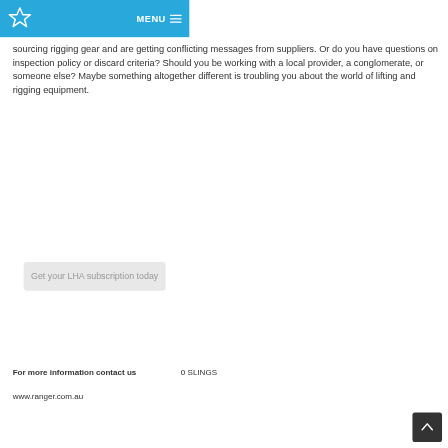MENU
sourcing rigging gear and are getting conflicting messages from suppliers. Or do you have questions on inspection policy or discard criteria? Should you be working with a local provider, a conglomerate, or someone else? Maybe something altogether different is troubling you about the world of lifting and rigging equipment.
Get your LHA subscription today
For more information contact us 0 SLINGS
www.ranger.com.au